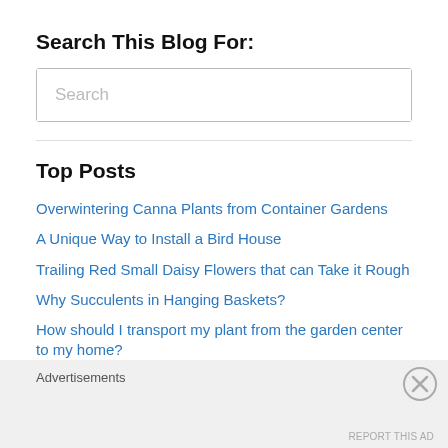Search This Blog For:
[Figure (other): Search input box with placeholder text 'Search']
Top Posts
Overwintering Canna Plants from Container Gardens
A Unique Way to Install a Bird House
Trailing Red Small Daisy Flowers that can Take it Rough
Why Succulents in Hanging Baskets?
How should I transport my plant from the garden center to my home?
Crocosmia 'Lucifer' - It will 'Rock On' in Your Container Garden Over and Over Again
Overwintering Red Banana Plants - Ensete ventricosum 'Maurelii'
Advertisements
REPORT THIS AD